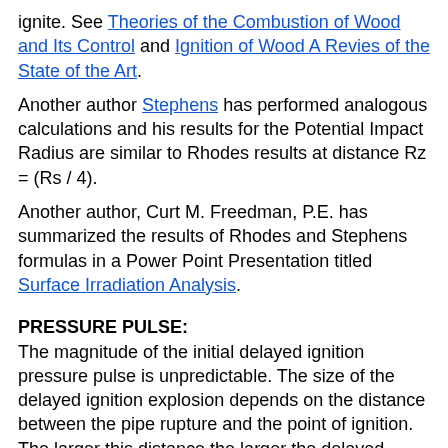ignite. See Theories of the Combustion of Wood and Its Control and Ignition of Wood A Revies of the State of the Art.
Another author Stephens has performed analogous calculations and his results for the Potential Impact Radius are similar to Rhodes results at distance Rz = (Rs / 4).
Another author, Curt M. Freedman, P.E. has summarized the results of Rhodes and Stephens formulas in a Power Point Presentation titled Surface Irradiation Analysis.
PRESSURE PULSE:
The magnitude of the initial delayed ignition pressure pulse is unpredictable. The size of the delayed ignition explosion depends on the distance between the pipe rupture and the point of ignition. The larger this distance the larger the delayed ignition explosion. Depending on the location of the source of delayed ignition the pressure wave damage radius can exceed the radius of the thermal radiation damage by several fold. In extreme cases the delayed ignition explosion is comparable to the blast wave from a small tactical nuclear weapon. For this reason it is important to limit the sizes of high pressure natural gas lines in urban areas. In the Middletown, Connecticut accident the delayed ignition blast